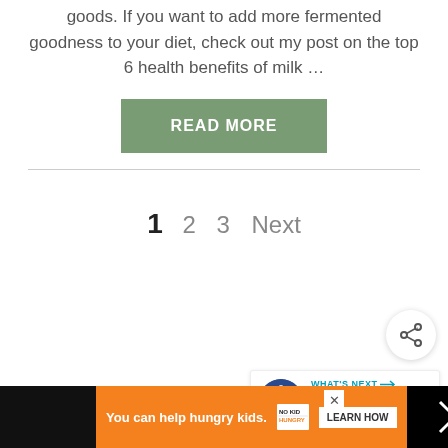goods. If you want to add more fermented goodness to your diet, check out my post on the top 6 health benefits of milk …
READ MORE
1  2  3  Next
[Figure (screenshot): Share button icon (circle with share symbol)]
[Figure (screenshot): What's Next box showing a chicken image with text '7 Chicken Breeds with...']
[Figure (screenshot): Advertisement banner: 'You can help hungry kids. NO KID HUNGRY LEARN HOW']